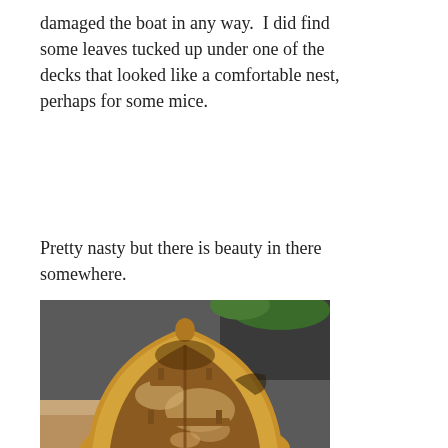damaged the boat in any way.  I did find some leaves tucked up under one of the decks that looked like a comfortable nest, perhaps for some mice.
Pretty nasty but there is beauty in there somewhere.
[Figure (photo): A worn and weathered wooden canoe viewed from the bow end, showing peeling varnish and deteriorated interior wood surfaces including seats and ribs. The canoe is sitting on a driveway outdoors.]